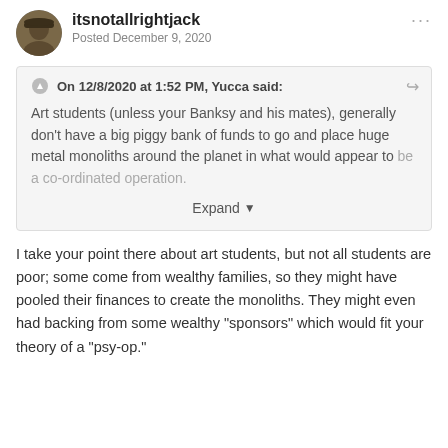itsnotallrightjack
Posted December 9, 2020
On 12/8/2020 at 1:52 PM, Yucca said:
Art students (unless your Banksy and his mates), generally don't have a big piggy bank of funds to go and place huge metal monoliths around the planet in what would appear to be a co-ordinated operation.
Expand
I take your point there about art students, but not all students are poor; some come from wealthy families, so they might have pooled their finances to create the monoliths. They might even had backing from some wealthy "sponsors" which would fit your theory of a "psy-op."